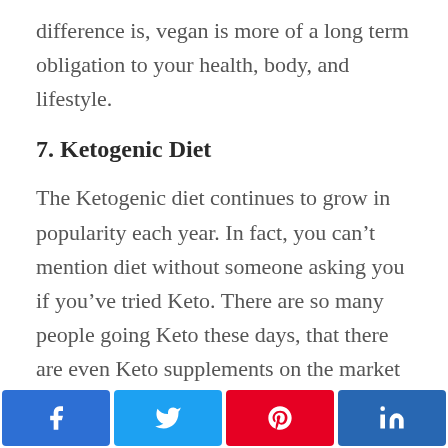difference is, vegan is more of a long term obligation to your health, body, and lifestyle.
7. Ketogenic Diet
The Ketogenic diet continues to grow in popularity each year. In fact, you can’t mention diet without someone asking you if you’ve tried Keto. There are so many people going Keto these days, that there are even Keto supplements on the market now.
(partially visible/faded text at bottom)
[Figure (other): Social share buttons bar at bottom: Facebook (blue), Twitter (light blue), Pinterest (red), LinkedIn (dark blue)]